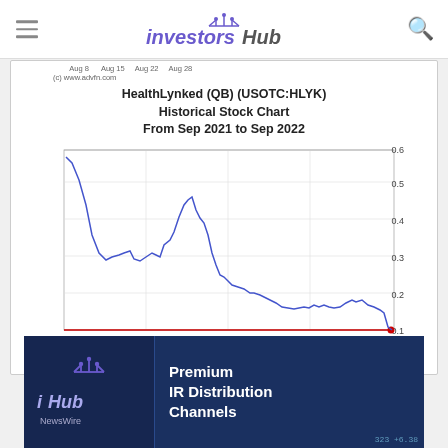investorsHub
(c) www.advfn.com
HealthLynked (QB) (USOTC:HLYK) Historical Stock Chart From Sep 2021 to Sep 2022
[Figure (continuous-plot): Line chart showing HLYK stock price from Sep 2021 to Sep 2022. Starts near 0.6 in Sep 2021, drops sharply, bounces around 0.25-0.30 through late 2021, peaks near 0.5 in Jan 2022, then steadily declines to around 0.1 by Sep 2022. A red horizontal line at approximately 0.1. Y-axis: 0.1 to 0.6. X-axis shows Nov 21, Jan 22, May 22.]
(c) www.advfn.com
[Figure (infographic): iHub NewsWire advertisement banner with navy blue background showing ihub logo on left and 'Premium IR Distribution Channels' text on right]